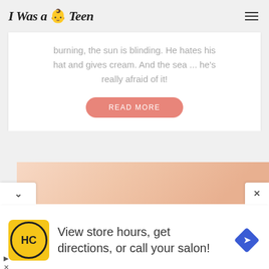I Was a Teen
burning, the sun is blinding. He hates his hat and gives cream. And the sea ... he's really afraid of it!
READ MORE
[Figure (photo): Partial view of a baby or child, warm-toned image, bottom portion of article card]
View store hours, get directions, or call your salon!